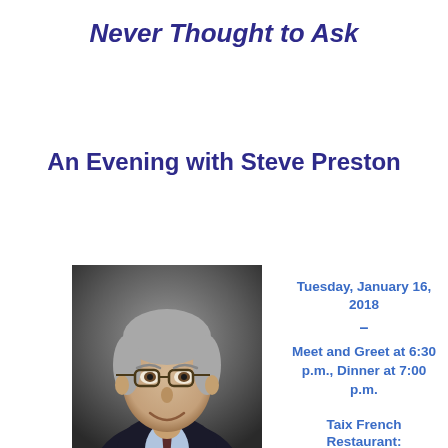Never Thought to Ask
An Evening with Steve Preston
[Figure (photo): Headshot photo of Steve Preston, a middle-aged man with grey hair and glasses, wearing a dark suit and tie, smiling.]
Tuesday, January 16, 2018
–
Meet and Greet at 6:30 p.m., Dinner at 7:00 p.m.
Taix French Restaurant: